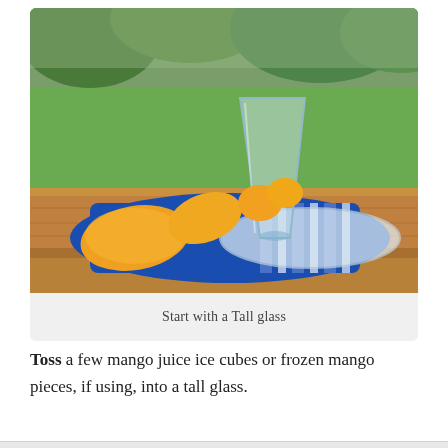[Figure (photo): Mangoes and a tall glass on a blue striped towel on a wooden deck railing, with green trees in the background]
Start with a Tall glass
Toss a few mango juice ice cubes or frozen mango pieces, if using, into a tall glass.